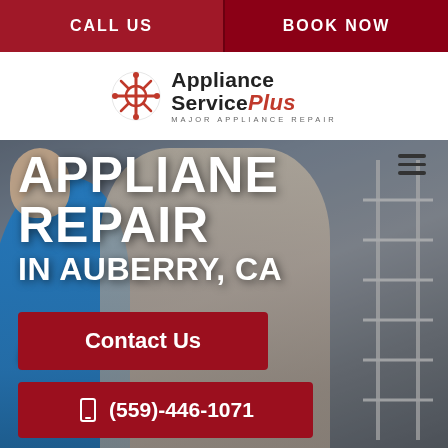CALL US | BOOK NOW
[Figure (logo): Appliance Service Plus logo with wrench/gear icon, tagline MAJOR APPLIANCE REPAIR]
[Figure (photo): Background photo of two people repairing an appliance, man in blue shirt and woman with screwdriver working on metal rack]
APPLIANCE REPAIR IN AUBERRY, CA
Let's Talk!
Contact Us
(559)-446-1071